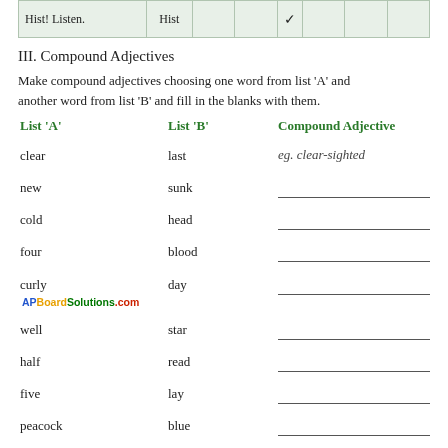|  | Hist |  |  |  |  |  |  |
| --- | --- | --- | --- | --- | --- | --- | --- |
| Hist! Listen. | Hist |  |  | ✓ |  |  |  |
III. Compound Adjectives
Make compound adjectives choosing one word from list 'A' and another word from list 'B' and fill in the blanks with them.
| List 'A' | List 'B' | Compound Adjective |
| --- | --- | --- |
| clear | last | eg. clear-sighted |
| new | sunk |  |
| cold | head |  |
| four | blood |  |
| curly | day |  |
| well | star |  |
| half | read |  |
| five | lay |  |
| peacock | blue |  |